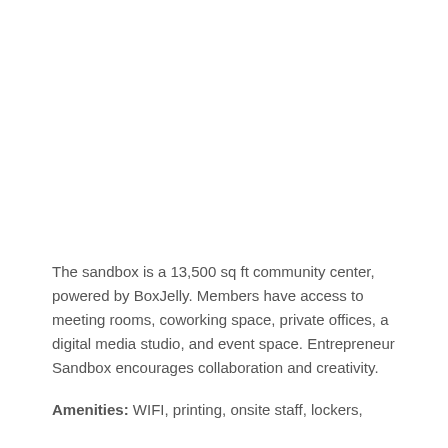The sandbox is a 13,500 sq ft community center, powered by BoxJelly. Members have access to meeting rooms, coworking space, private offices, a digital media studio, and event space. Entrepreneur Sandbox encourages collaboration and creativity.
Amenities: WIFI, printing, onsite staff, lockers,